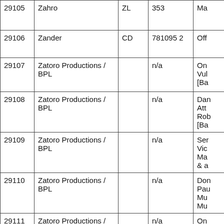| 29105 | Zahro | ZL | 353 | Ma |
| 29106 | Zander | CD | 781095 2 | Off |
| 29107 | Zatoro Productions / BPL |  | n/a | On Vul [Ba |
| 29108 | Zatoro Productions / BPL |  | n/a | Dan Att Rob [Ba |
| 29109 | Zatoro Productions / BPL |  | n/a | Ser Vic Ma & a |
| 29110 | Zatoro Productions / BPL |  | n/a | Don Pau Mu Mu |
| 29111 | Zatoro Productions / BPL |  | n/a | On Vir Ne |